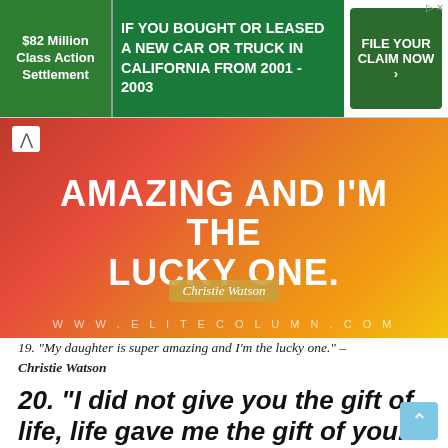[Figure (screenshot): Green advertisement banner: '$82 Million Class Action Settlement | IF YOU BOUGHT OR LEASED A NEW CAR OR TRUCK IN CALIFORNIA FROM 2001 - 2003 | FILE YOUR CLAIM NOW']
[Figure (illustration): Orange/red gradient banner with bold white text 'AMAZING AND I'M THE LUCKY ONE.' with 'Christie Watson' author tag and URL www.elitecolumn.com at bottom]
19. "My daughter is super amazing and I'm the lucky one." – Christie Watson
20. "I did not give you the gift of life, life gave me the gift of you." – Anonymous
21. "The woman who is my best friend, my teacher, my